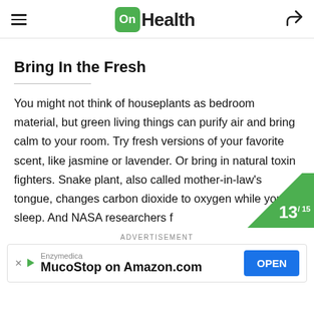OnHealth
Bring In the Fresh
You might not think of houseplants as bedroom material, but green living things can purify air and bring calm to your room. Try fresh versions of your favorite scent, like jasmine or lavender. Or bring in natural toxin fighters. Snake plant, also called mother-in-law's tongue, changes carbon dioxide to oxygen while you sleep. And NASA researchers f
[Figure (other): Green triangle badge in bottom-right corner showing page number 13 out of 15]
ADVERTISEMENT
[Figure (other): Advertisement banner for Enzymedica MucoStop on Amazon.com with OPEN button]